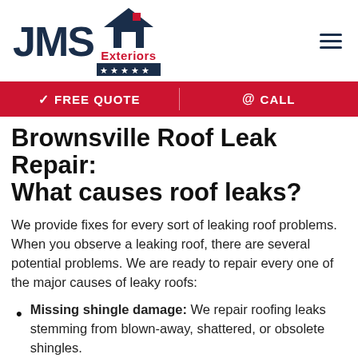[Figure (logo): JMS Exteriors logo with house icon, red 'Exteriors' text, and dark blue star banner]
✓ FREE QUOTE  |  @ CALL
Brownsville Roof Leak Repair: What causes roof leaks?
We provide fixes for every sort of leaking roof problems. When you observe a leaking roof, there are several potential problems. We are ready to repair every one of the major causes of leaky roofs:
Missing shingle damage: We repair roofing leaks stemming from blown-away, shattered, or obsolete shingles.